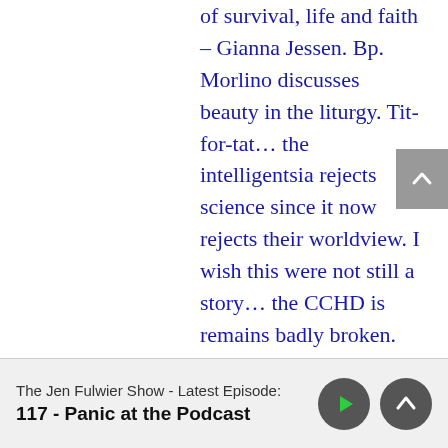of survival, life and faith – Gianna Jessen. Bp. Morlino discusses beauty in the liturgy. Tit-for-tat… the intelligentsia rejects science since it now rejects their worldview. I wish this were not still a story… the CCHD is remains badly broken. Big surprise (heavy sarcasm), a key white house aid lands VP gig at Planned Parenthood. Jim Rockford has been forced out of retirement to advise a troubled Occupy Wall Street protester. Pope Leo XIII has the quote of the week.
The Jen Fulwiler Show - Latest Episode:
117 - Panic at the Podcast